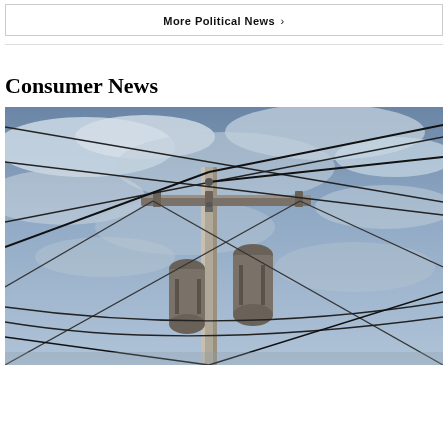More Political News ›
Consumer News
[Figure (photo): A utility pole with a transformer and numerous power lines crossing against a cloudy blue-grey sky, photographed from below looking up.]